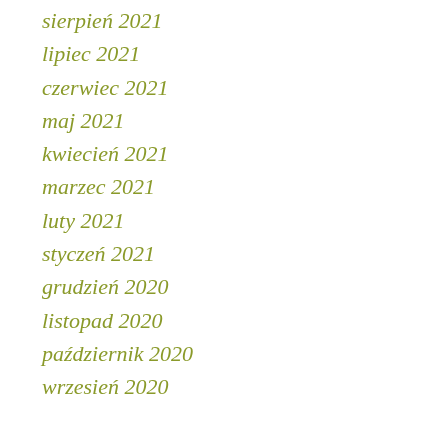sierpień 2021
lipiec 2021
czerwiec 2021
maj 2021
kwiecień 2021
marzec 2021
luty 2021
styczeń 2021
grudzień 2020
listopad 2020
październik 2020
wrzesień 2020